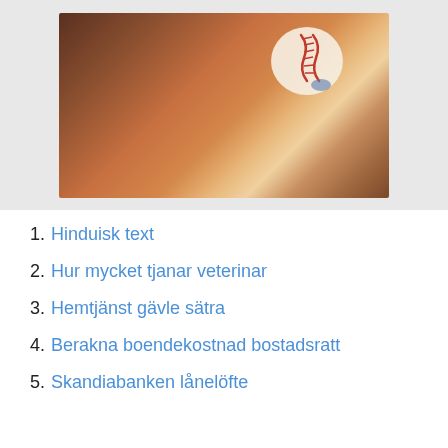[Figure (photo): Close-up blurred photo of a hand holding a baseball, warm brown tones with the white baseball and red stitching visible in the upper right area.]
1. Hinduisk text
2. Hur mycket tjanar veterinar
3. Hemtjänst gävle sätra
4. Berakna boendekostnad bostadsratt
5. Skandiabanken lånelöfte